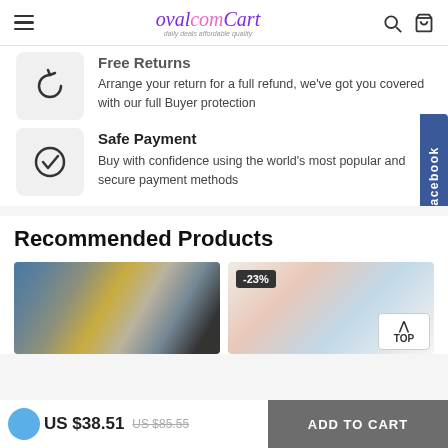ovalcomCart — daily deals affordable quality
Free Returns
Arrange your return for a full refund, we've got you covered with our full Buyer protection
Safe Payment
Buy with confidence using the world's most popular and secure payment methods
Recommended Products
[Figure (photo): Product image of colorful socks]
[Figure (photo): Product image of shoes with -23% discount badge]
US $38.51  US $85.55
ADD TO CART